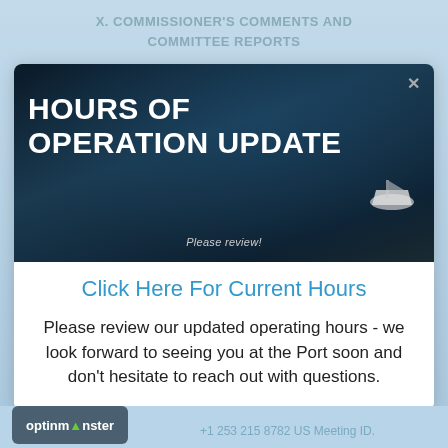X. COMMISSIONER'S COMMENTS AND COMMITTEE REPORTS
[Figure (screenshot): A modal popup overlay showing a dark water/ocean background banner with bold white text 'HOURS OF OPERATION UPDATE' and subtitle 'Please review!' with a boat image in the lower right of the banner. Below the banner is a blue link 'Click Here For Current Hours' and body text about updated operating hours.]
Click Here For Current Hours
Please review our updated operating hours - we look forward to seeing you at the Port soon and don't hesitate to reach out with questions.
optinmonster   +1 253 215 8782 US Meeting ID.